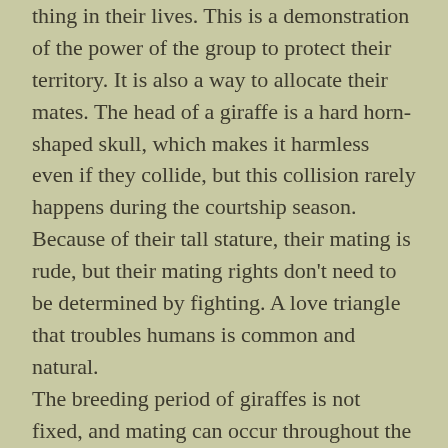thing in their lives. This is a demonstration of the power of the group to protect their territory. It is also a way to allocate their mates. The head of a giraffe is a hard horn-shaped skull, which makes it harmless even if they collide, but this collision rarely happens during the courtship season.
Because of their tall stature, their mating is rude, but their mating rights don't need to be determined by fighting. A love triangle that troubles humans is common and natural.
The breeding period of giraffes is not fixed, and mating can occur throughout the year. The peak is in the rainy season. At 15 months of gestation, one litter per litter is